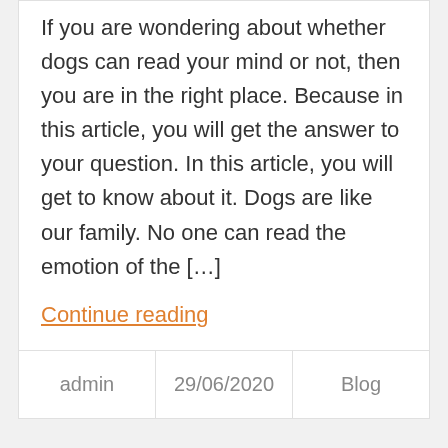If you are wondering about whether dogs can read your mind or not, then you are in the right place. Because in this article, you will get the answer to your question. In this article, you will get to know about it. Dogs are like our family. No one can read the emotion of the […]
Continue reading
| admin | 29/06/2020 | Blog |
| --- | --- | --- |
Why Do Dogs